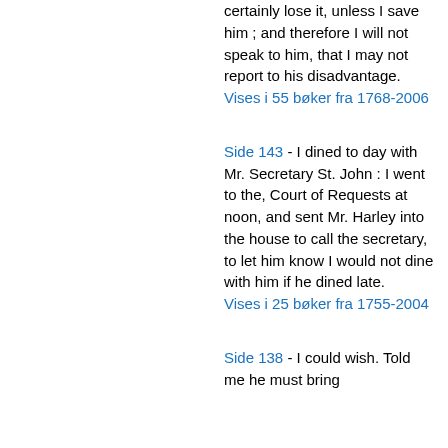certainly lose it, unless I save him ; and therefore I will not speak to him, that I may not report to his disadvantage. Vises i 55 bøker fra 1768-2006
Side 143 - I dined to day with Mr. Secretary St. John : I went to the, Court of Requests at noon, and sent Mr. Harley into the house to call the secretary, to let him know I would not dine with him if he dined late. Vises i 25 bøker fra 1755-2004
Side 138 - I could wish. Told me he must bring